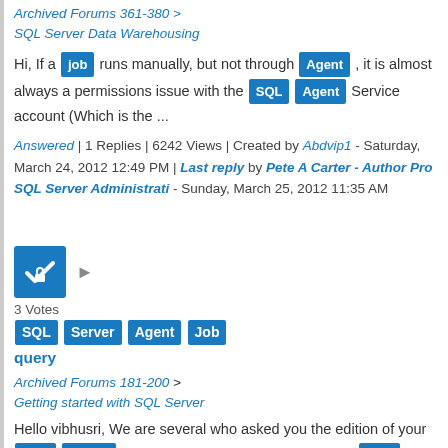Archived Forums 361-380 > SQL Server Data Warehousing
Hi, If a job runs manually, but not through Agent , it is almost always a permissions issue with the SQL Agent Service account (Which is the ...
Answered | 1 Replies | 6242 Views | Created by Abdvip1 - Saturday, March 24, 2012 12:49 PM | Last reply by Pete A Carter - Author Pro SQL Server Administrati - Sunday, March 25, 2012 11:35 AM
[Figure (other): Blue square icon with checkmark and lock symbol]
3 Votes
SQL Server Agent Job query
Archived Forums 181-200 > Getting started with SQL Server
Hello vibhusri, We are several who asked you the edition of your SQL Server 2008 because it is impossible to use SQL Agent with SQL ...
Answered | 10 Replies | 11283 Views | Created by vibhusri - Friday, May 13, 2011 12:02 PM | Last reply by SQLWork -